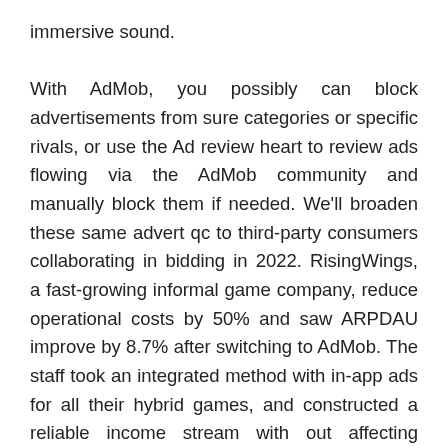immersive sound.

With AdMob, you possibly can block advertisements from sure categories or specific rivals, or use the Ad review heart to review ads flowing via the AdMob community and manually block them if needed. We'll broaden these same advert qc to third-party consumers collaborating in bidding in 2022. RisingWings, a fast-growing informal game company, reduce operational costs by 50% and saw ARPDAU improve by 8.7% after switching to AdMob. The staff took an integrated method with in-app ads for all their hybrid games, and constructed a reliable income stream with out affecting person retention. After mobile sport developer Me2Zen saw strong performance from the AdMob network, they